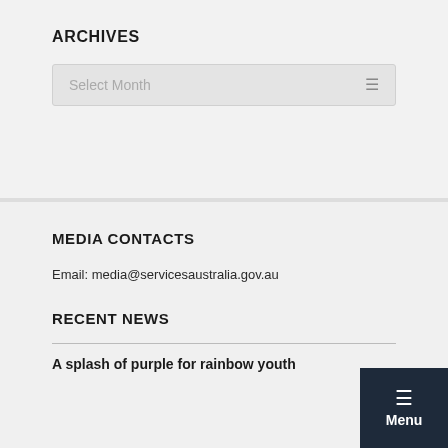ARCHIVES
Select Month
MEDIA CONTACTS
Email: media@servicesaustralia.gov.au
RECENT NEWS
A splash of purple for rainbow youth